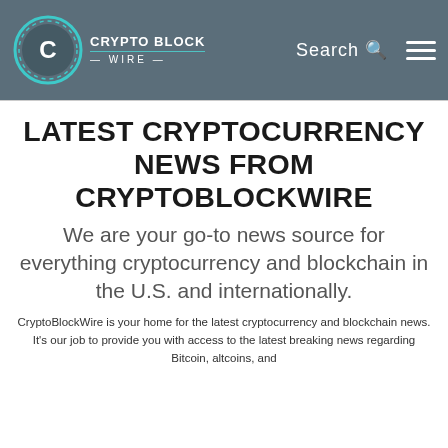Crypto Block Wire | Search | Menu
LATEST CRYPTOCURRENCY NEWS FROM CRYPTOBLOCKWIRE
We are your go-to news source for everything cryptocurrency and blockchain in the U.S. and internationally.
CryptoBlockWire is your home for the latest cryptocurrency and blockchain news. It's our job to provide you with access to the latest breaking news regarding Bitcoin, altcoins, and